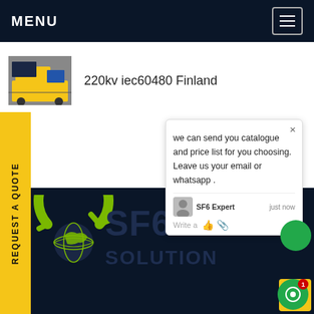MENU
220kv iec60480 Finland
[Figure (screenshot): Yellow truck vehicle thumbnail image]
REQUEST A QUOTE
we can send you catalogue and price list for you choosing. Leave us your email or whatsapp .
SF6 Expert   just now
Write a
[Figure (logo): SF6 Solution logo with green circular arrows around a globe icon, with text SF6 SOLUTION]